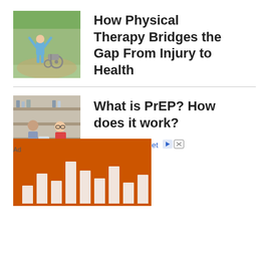[Figure (photo): Person in blue clothing standing with arms raised near a wheelchair in an outdoor green setting]
How Physical Therapy Bridges the Gap From Injury to Health
[Figure (photo): Two people at a pharmacy counter, one handing something to the other]
What is PrEP? How does it work?
[Figure (bar-chart): Advertisement banner with orange background showing white bar chart columns of varying heights]
Investors' risky bet
Ad